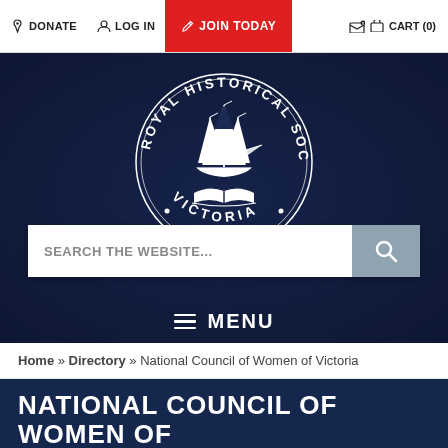DONATE  LOG IN  JOIN TODAY  CART (0)
[Figure (logo): Royal Historical Society Victoria circular logo with sailing ship and open book, white on dark navy background]
SEARCH THE WEBSITE...
≡ MENU
Home » Directory » National Council of Women of Victoria
NATIONAL COUNCIL OF WOMEN OF